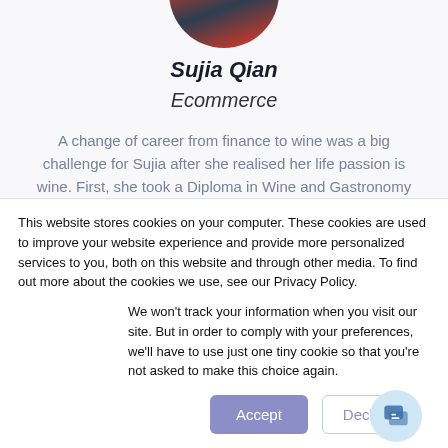[Figure (photo): Circular profile photo of Sujia Qian, partially cropped at the top, showing a person in dark clothing]
Sujia Qian
Ecommerce
A change of career from finance to wine was a big challenge for Sujia after she realised her life passion is wine. First, she took a Diploma in Wine and Gastronomy at Le Cordon Bleu in London, researching the many wine regions and
This website stores cookies on your computer. These cookies are used to improve your website experience and provide more personalized services to you, both on this website and through other media. To find out more about the cookies we use, see our Privacy Policy.
We won't track your information when you visit our site. But in order to comply with your preferences, we'll have to use just one tiny cookie so that you're not asked to make this choice again.